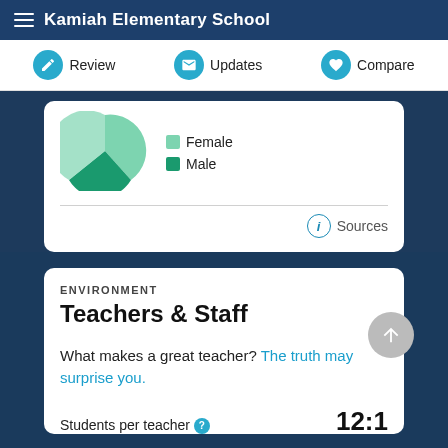Kamiah Elementary School
Review | Updates | Compare
[Figure (pie-chart): Partial pie chart showing Female (light green) and Male (dark green) segments with legend]
Sources
ENVIRONMENT
Teachers & Staff
What makes a great teacher? The truth may surprise you.
Students per teacher  12:1